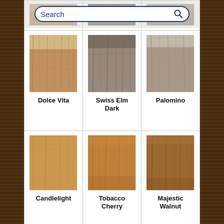[Figure (screenshot): Wood flooring product catalog showing a grid of wood swatch samples with names: Dolce Vita, Swiss Elm Dark, Palomino (middle row), and Candlelight, Tobacco Cherry, Majestic Walnut (bottom row). A search bar overlay is visible at the top.]
Dolce Vita
Swiss Elm Dark
Palomino
Candlelight
Tobacco Cherry
Majestic Walnut